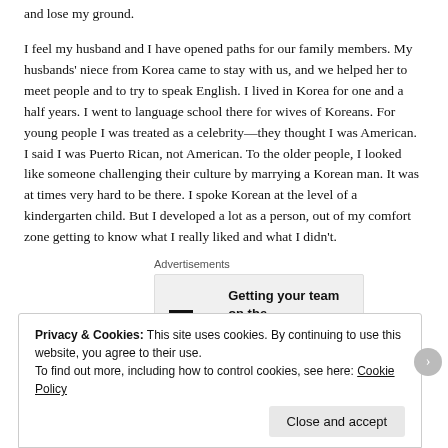and lose my ground.
I feel my husband and I have opened paths for our family members. My husbands' niece from Korea came to stay with us, and we helped her to meet people and to try to speak English. I lived in Korea for one and a half years. I went to language school there for wives of Koreans. For young people I was treated as a celebrity—they thought I was American. I said I was Puerto Rican, not American. To the older people, I looked like someone challenging their culture by marrying a Korean man. It was at times very hard to be there. I spoke Korean at the level of a kindergarten child. But I developed a lot as a person, out of my comfort zone getting to know what I really liked and what I didn't.
Advertisements
[Figure (other): Advertisement banner for P2 with logo and text: Getting your team on the same page is easy. And free.]
Privacy & Cookies: This site uses cookies. By continuing to use this website, you agree to their use.
To find out more, including how to control cookies, see here: Cookie Policy
Close and accept